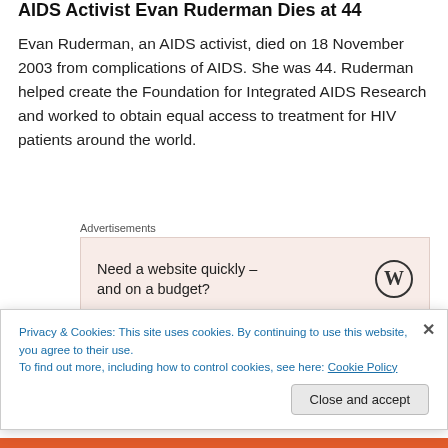AIDS Activist Evan Ruderman Dies at 44
Evan Ruderman, an AIDS activist, died on 18 November 2003 from complications of AIDS. She was 44. Ruderman helped create the Foundation for Integrated AIDS Research and worked to obtain equal access to treatment for HIV patients around the world.
[Figure (other): Advertisement box with text 'Need a website quickly – and on a budget?' and WordPress logo on beige/pink background]
AIDS Activist Carlton Hogan Dead at 42
Carlton H. Hogan, age 42, of Minneapolis, died at home
Privacy & Cookies: This site uses cookies. By continuing to use this website, you agree to their use.
To find out more, including how to control cookies, see here: Cookie Policy
Close and accept